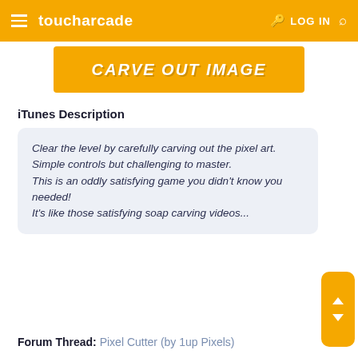toucharcade  LOG IN
[Figure (illustration): Banner image with orange background and bold italic white text: CARVE OUT IMAGE]
iTunes Description
Clear the level by carefully carving out the pixel art.
Simple controls but challenging to master.
This is an oddly satisfying game you didn't know you needed!
It's like those satisfying soap carving videos...
Forum Thread: Pixel Cutter (by 1up Pixels)